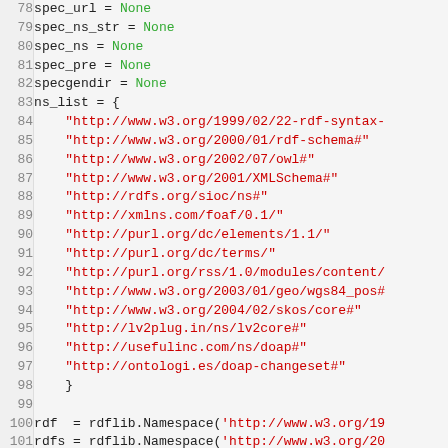[Figure (screenshot): Python source code listing, lines 78-107, showing variable assignments and a namespace list with RDF/OWL URIs, followed by rdflib.Namespace() calls.]